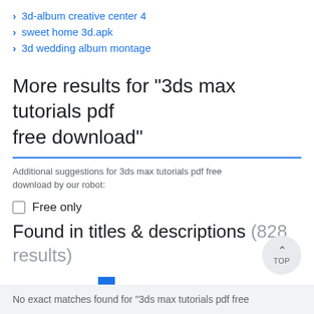3d-album creative center 4
sweet home 3d.apk
3d wedding album montage
More results for "3ds max tutorials pdf free download"
Additional suggestions for 3ds max tutorials pdf free download by our robot:
Free only
Found in titles & descriptions (828 results)
[Figure (other): Relevance to Quality slider with blue thumb positioned near left-center]
No exact matches found for "3ds max tutorials pdf free